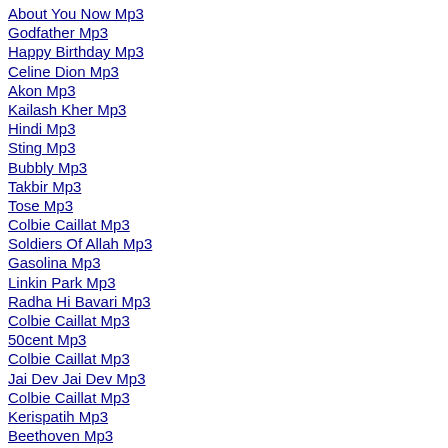About You Now Mp3
Godfather Mp3
Happy Birthday Mp3
Celine Dion Mp3
Akon Mp3
Kailash Kher Mp3
Hindi Mp3
Sting Mp3
Bubbly Mp3
Takbir Mp3
Tose Mp3
Colbie Caillat Mp3
Soldiers Of Allah Mp3
Gasolina Mp3
Linkin Park Mp3
Radha Hi Bavari Mp3
Colbie Caillat Mp3
50cent Mp3
Colbie Caillat Mp3
Jai Dev Jai Dev Mp3
Colbie Caillat Mp3
Kerispatih Mp3
Beethoven Mp3
Ketahuan Mp3
Crank Mp3